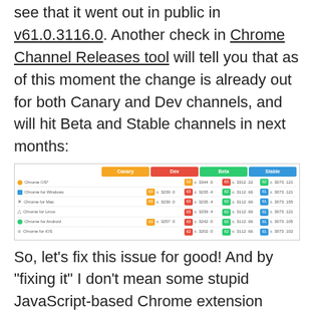see that it went out in public in v61.0.3116.0. Another check in Chrome Channel Releases tool will tell you that as of this moment the change is already out for both Canary and Dev channels, and will hit Beta and Stable channels in next months:
[Figure (screenshot): Chrome Channel Releases tool screenshot showing version numbers for Chrome OS, Chrome for Windows, Chrome for Mac, Chrome for Linux, Chrome for Android, and Chrome for iOS across Canary, Dev, Beta, and Stable channels.]
So, let's fix this issue for good! And by "fixing it" I don't mean some stupid JavaScript-based Chrome extension (which doesn't work when JavaScript is disabled and in hundreds of other cases..), I mean a proper fix in the code.